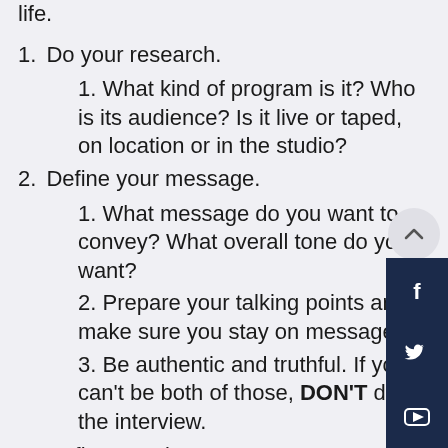life.
1. Do your research.
1. What kind of program is it? Who is its audience? Is it live or taped, on location or in the studio?
2. Define your message.
1. What message do you want to convey? What overall tone do you want?
2. Prepare your talking points and make sure you stay on message.
3. Be authentic and truthful. If you can't be both of those, DON'T do the interview.
1. Define your image.
1. Your physical appearance will make an impact — positively or negatively. Make sure your